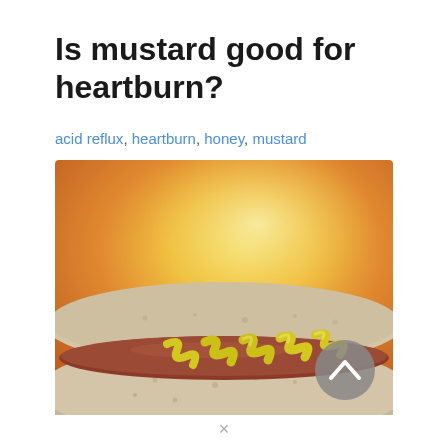Is mustard good for heartburn?
acid reflux, heartburn, honey, mustard
[Figure (photo): Close-up photograph of a hot dog in a bun with yellow mustard drizzled on top, on a warm orange/golden blurred background. A gray circular scroll-up button with a chevron is visible in the lower right corner of the image.]
×